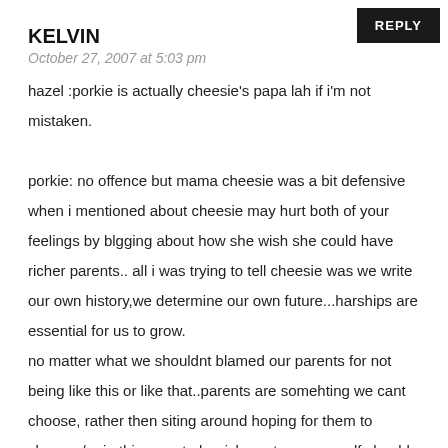KELVIN
October 27, 2007 at 5:03 pm
hazel :porkie is actually cheesie's papa lah if i'm not mistaken.
porkie: no offence but mama cheesie was a bit defensive when i mentioned about cheesie may hurt both of your feelings by blgging about how she wish she could have richer parents.. all i was trying to tell cheesie was we write our own history,we determine our own future...harships are essential for us to grow.
no matter what we shouldnt blamed our parents for not being like this or like that..parents are somehting we cant choose, rather then siting around hoping for them to change /or in this case,to be richer..etc, we ourself should